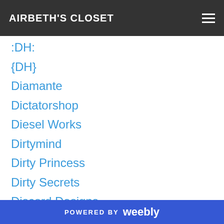AIRBETH'S CLOSET
:DH:
{DH}
Diamante
Dictatorshop
Diesel Works
Dirtymind
Dirty Princess
Dirty Secrets
Discord Designs
Di's Opera
Diva
DMD
DOE
Doll
Doozy
POWERED BY weebly